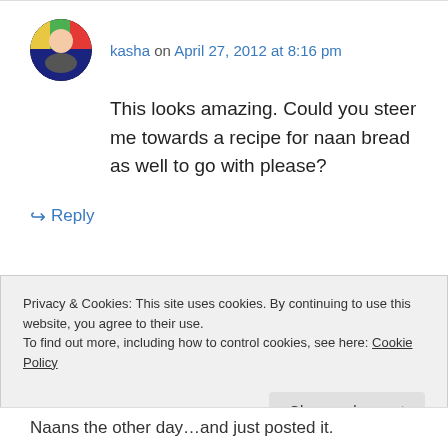[Figure (photo): Circular avatar image of user kasha - colorful profile photo]
kasha on April 27, 2012 at 8:16 pm
This looks amazing. Could you steer me towards a recipe for naan bread as well to go with please?
↳ Reply
Privacy & Cookies: This site uses cookies. By continuing to use this website, you agree to their use. To find out more, including how to control cookies, see here: Cookie Policy
Naans the other day…and just posted it.